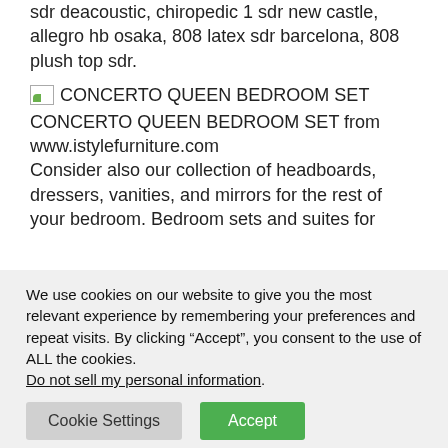sdr deacoustic, chiropedic 1 sdr new castle, allegro hb osaka, 808 latex sdr barcelona, 808 plush top sdr.
[Figure (photo): Broken/missing image icon for CONCERTO QUEEN BEDROOM SET]
CONCERTO QUEEN BEDROOM SET from www.istylefurniture.com Consider also our collection of headboards, dressers, vanities, and mirrors for the rest of your bedroom. Bedroom sets and suites for
We use cookies on our website to give you the most relevant experience by remembering your preferences and repeat visits. By clicking “Accept”, you consent to the use of ALL the cookies. Do not sell my personal information.
Cookie Settings   Accept